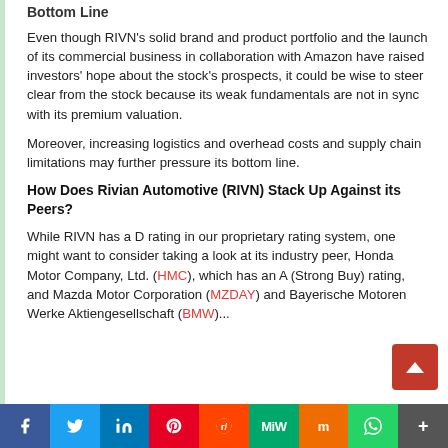Bottom Line
Even though RIVN's solid brand and product portfolio and the launch of its commercial business in collaboration with Amazon have raised investors' hope about the stock's prospects, it could be wise to steer clear from the stock because its weak fundamentals are not in sync with its premium valuation.
Moreover, increasing logistics and overhead costs and supply chain limitations may further pressure its bottom line.
How Does Rivian Automotive (RIVN) Stack Up Against its Peers?
While RIVN has a D rating in our proprietary rating system, one might want to consider taking a look at its industry peer, Honda Motor Company, Ltd. (HMC), which has an A (Strong Buy) rating, and Mazda Motor Corporation (MZDAY) and Bayerische Motoren Werke Aktiengesellschaft (BMW)...
[Figure (infographic): Social sharing bar with Facebook, Twitter, LinkedIn, Pinterest, Reddit, MeWe, Mix, WhatsApp, and More buttons]